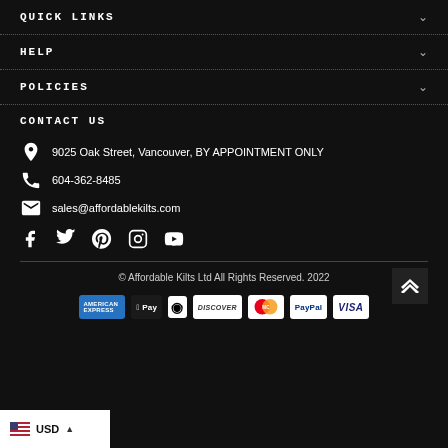QUICK LINKS
HELP
POLICIES
CONTACT US
9025 Oak Street, Vancouver, BY APPOINTMENT ONLY
604-362-8485
sales@affordablekilts.com
[Figure (infographic): Social media icons: Facebook, Twitter, Pinterest, Instagram, YouTube]
© Affordable Kilts Ltd All Rights Reserved. 2022
[Figure (infographic): Payment method logos: American Express, Apple Pay, Diners Club, Discover, MasterCard, PayPal, Visa]
USD